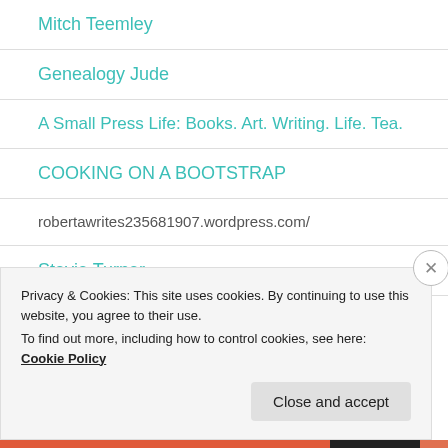Mitch Teemley
Genealogy Jude
A Small Press Life: Books. Art. Writing. Life. Tea.
COOKING ON A BOOTSTRAP
robertawrites235681907.wordpress.com/
Stevie Turner
Privacy & Cookies: This site uses cookies. By continuing to use this website, you agree to their use.
To find out more, including how to control cookies, see here: Cookie Policy
Close and accept